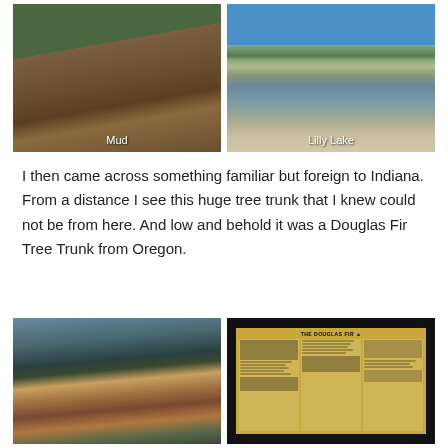[Figure (photo): Two side-by-side outdoor photographs. Left photo labeled 'Mud' shows a muddy, rocky terrain with green vegetation and trees in the background. Right photo labeled 'Lilly Lake' shows a calm lake with bare trees reflecting in the water and a sandy/dirt path in the foreground under a blue sky.]
I then came across something familiar but foreign to Indiana. From a distance I see this huge tree trunk that I knew could not be from here. And low and behold it was a Douglas Fir Tree Trunk from Oregon.
[Figure (photo): Two side-by-side outdoor photographs. Left photo shows a large fallen tree trunk (Douglas Fir) lying on the ground in a forested area with tall pine trees and a blue sky in the background, with a small informational sign nearby. Right photo shows a dark background with an informational sign about 'The Douglas Fir' featuring text columns, images, and a map.]